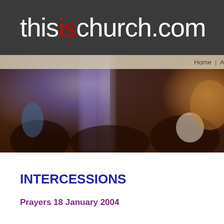thisischurch.com
[Figure (photo): Blurred photograph of people in a church or gathering space with warm amber and purple lighting, used as a banner image. A navigation bar overlaid at the top shows 'Home | About U'.]
INTERCESSIONS
Prayers 18 January 2004